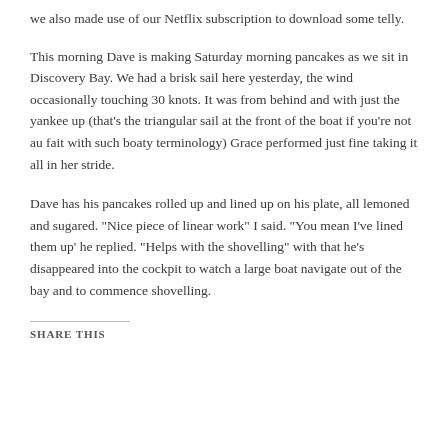we also made use of our Netflix subscription to download some telly.
This morning Dave is making Saturday morning pancakes as we sit in Discovery Bay. We had a brisk sail here yesterday, the wind occasionally touching 30 knots. It was from behind and with just the yankee up (that’s the triangular sail at the front of the boat if you’re not au fait with such boaty terminology) Grace performed just fine taking it all in her stride.
Dave has his pancakes rolled up and lined up on his plate, all lemoned and sugared. “Nice piece of linear work” I said. “You mean I’ve lined them up’ he replied. “Helps with the shovelling” with that he’s disappeared into the cockpit to watch a large boat navigate out of the bay and to commence shovelling.
SHARE THIS